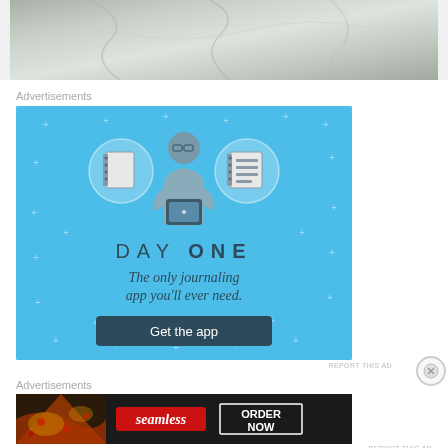[Figure (photo): Close-up photo of stone or fabric texture in grey/beige tones, partially visible at top of page]
Advertisements
[Figure (illustration): Day One app advertisement on light blue background featuring a person holding a phone flanked by notebook icons, with text 'DAY ONE - The only journaling app you'll ever need.' and a 'Get the app' button]
REPORT THIS AD
Advertisements
[Figure (illustration): Seamless food delivery advertisement showing pizza and 'seamless' logo with 'ORDER NOW' button on dark background]